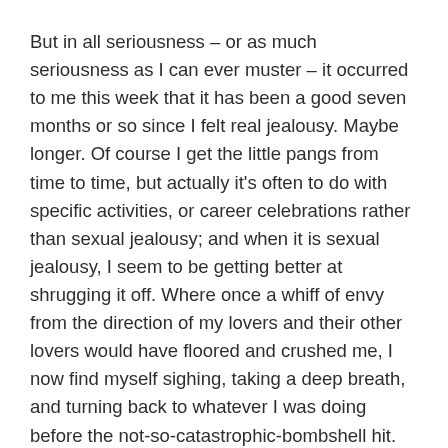But in all seriousness – or as much seriousness as I can ever muster – it occurred to me this week that it has been a good seven months or so since I felt real jealousy. Maybe longer. Of course I get the little pangs from time to time, but actually it's often to do with specific activities, or career celebrations rather than sexual jealousy; and when it is sexual jealousy, I seem to be getting better at shrugging it off. Where once a whiff of envy from the direction of my lovers and their other lovers would have floored and crushed me, I now find myself sighing, taking a deep breath, and turning back to whatever I was doing before the not-so-catastrophic-bombshell hit. And nine times out of ten, I've forgotten about it in an hour or so.
Like I said, this has actually been going on for a while